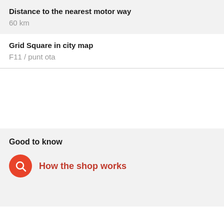Distance to the nearest motor way
60 km
Grid Square in city map
F11 / punt ota
Good to know
How the shop works